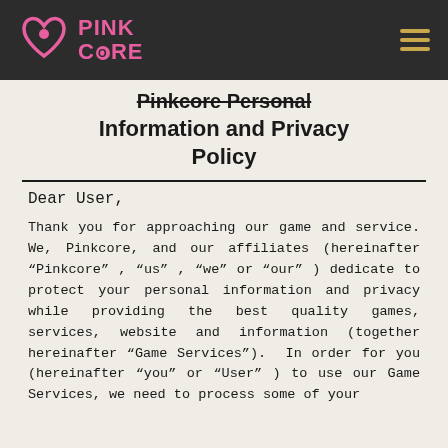Pinkcore (logo and navigation header)
Pinkcore Personal Information and Privacy Policy
Dear User,
Thank you for approaching our game and service. We, Pinkcore, and our affiliates (hereinafter “Pinkcore” , “us” , “we” or “our” ) dedicate to protect your personal information and privacy while providing the best quality games, services, website and information (together hereinafter “Game Services”). In order for you (hereinafter “you” or “User” ) to use our Game Services, we need to process some of your